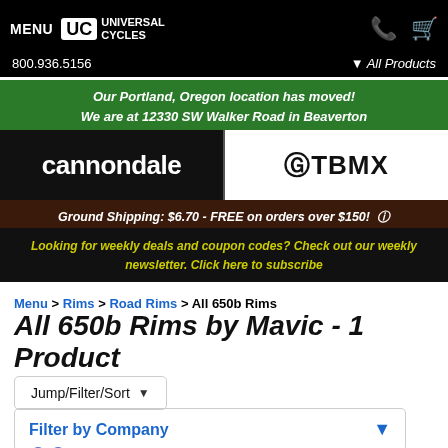MENU UC UNIVERSAL CYCLES 800.936.5156 | All Products
Our Portland, Oregon location has moved! We are at 12330 SW Walker Road in Beaverton
[Figure (logo): Cannondale logo on black background and GT BMX logo on white background, side by side]
Ground Shipping: $6.70 - FREE on orders over $150! (?)
Looking for weekly deals and coupon codes? Check out our weekly newsletter. Click here to subscribe
Menu > Rims > Road Rims > All 650b Rims
All 650b Rims by Mavic - 1 Product
Jump/Filter/Sort
Filter by Company
Mavic